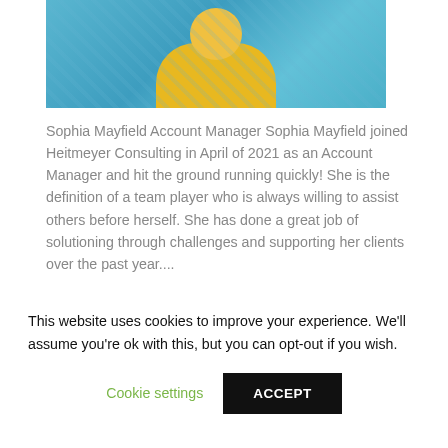[Figure (photo): Cropped photo of a person wearing a yellow shirt against a blue patterned background]
Sophia Mayfield Account Manager Sophia Mayfield joined Heitmeyer Consulting in April of 2021 as an Account Manager and hit the ground running quickly! She is the definition of a team player who is always willing to assist others before herself. She has done a great job of solutioning through challenges and supporting her clients over the past year....
Read More
This website uses cookies to improve your experience. We'll assume you're ok with this, but you can opt-out if you wish.
Cookie settings
ACCEPT